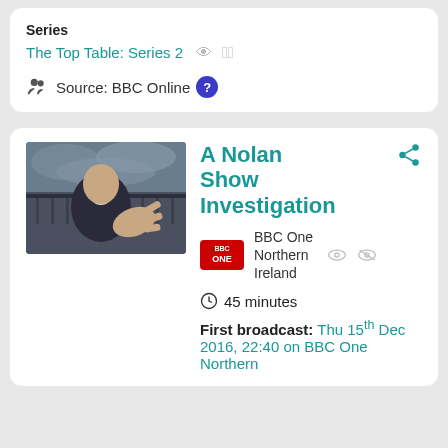Series
The Top Table: Series 2
Source: BBC Online
A Nolan Show Investigation
BBC One Northern Ireland
45 minutes
First broadcast: Thu 15th Dec 2016, 22:40 on BBC One Northern